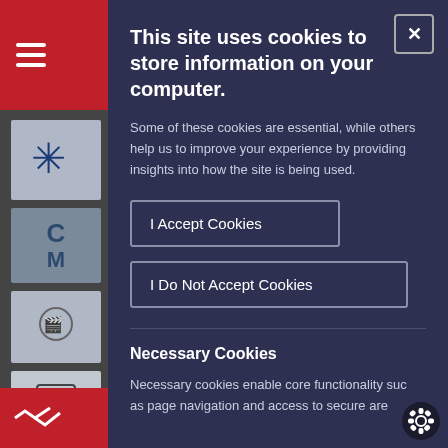This site uses cookies to store information on your computer.
Some of these cookies are essential, while others help us to improve your experience by providing insights into how the site is being used.
I Accept Cookies
I Do Not Accept Cookies
Necessary Cookies
Necessary cookies enable core functionality such as page navigation and access to secure ar...